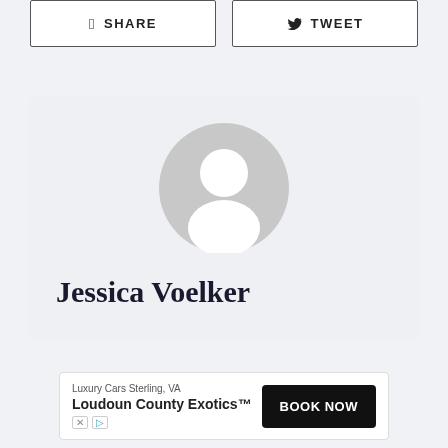[Figure (other): Facebook Share button and Twitter Tweet button side by side]
[Figure (other): Author profile card with default avatar placeholder and name 'Jessica Voelker']
Jessica Voelker
[Figure (other): Advertisement banner: Luxury Cars Sterling, VA - Loudoun County Exotics™ with BOOK NOW button]